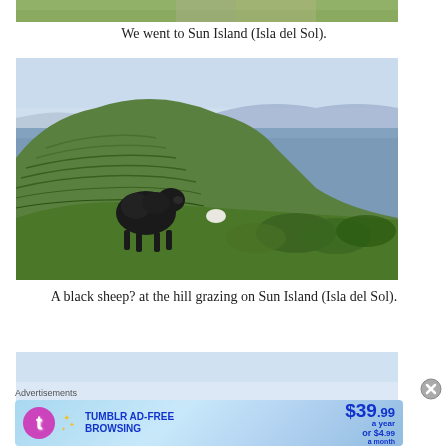[Figure (photo): Partial top portion of a landscape or ruins photo, cropped at the very top of the page]
We went to Sun Island (Isla del Sol).
[Figure (photo): A black sheep grazing on a terraced hillside on Sun Island (Isla del Sol), with a large lake and distant mountains in the background. The hill has Inca-style terraces and green vegetation.]
A black sheep? at the hill grazing on Sun Island (Isla del Sol).
[Figure (photo): Partial bottom photo, showing sky and light blue/white tones — cropped at bottom of page]
Advertisements
[Figure (infographic): Tumblr Ad-Free Browsing advertisement banner: $39.99 a year or $4.99 a month]